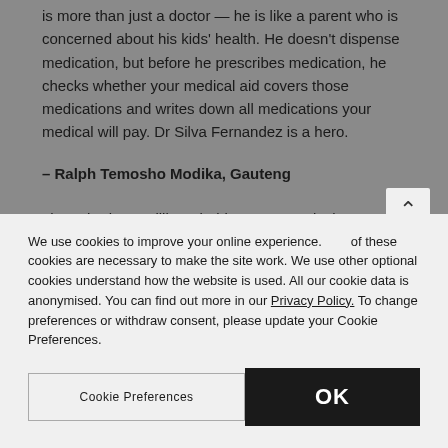is more than just a doctor — he is like a parent who is concerned about his kids' health. He doesn't dispense medication, but before he prescribes medication, he checks whether your medical aid covers those medications and writes down all medications your medical will pay. Dr Silva Fernandez is a hero.
– Ralph Temosho Modika, Gauteng
I have had two stillborn babies at 37 weeks because of abruptio. When I met Dr Silver, a gynaecologist and obstetrician, she understood my past and picked up that I was
We use cookies to improve your online experience. Some of these cookies are necessary to make the site work. We use other optional cookies understand how the website is used. All our cookie data is anonymised. You can find out more in our Privacy Policy. To change preferences or withdraw consent, please update your Cookie Preferences.
Cookie Preferences
OK